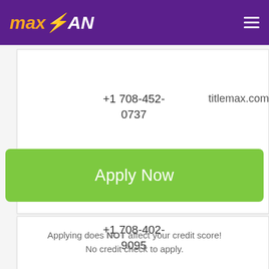[Figure (logo): MaxLoan logo with orange 'max' and white 'LOAN' text on purple header, with hamburger menu icon]
+1 708-452-0737
titlemax.com
+1 708-402-9095
[Figure (other): Partially visible image strip with purple and gray tones at bottom of page]
Apply Now
Applying does NOT affect your credit score!
No credit check to apply.